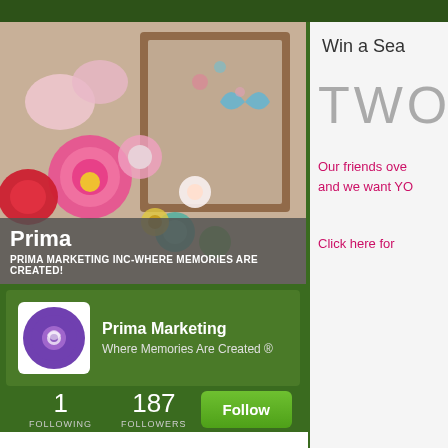[Figure (screenshot): Prima Marketing social media profile page showing floral craft products photo, profile card with avatar, following/followers stats and follow button]
Prima
PRIMA MARKETING INC-WHERE MEMORIES ARE CREATED!
Prima Marketing
Where Memories Are Created ®
1
FOLLOWING
187
FOLLOWERS
Win a Sea
TWO
Our friends ove
and we want YO
Click here for